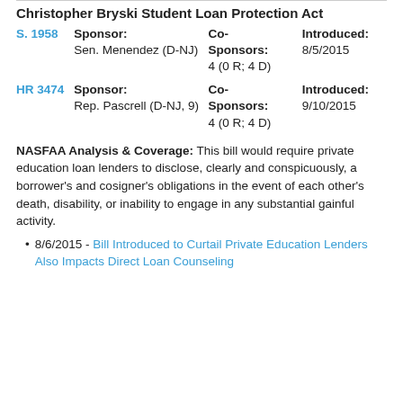Christopher Bryski Student Loan Protection Act
| Bill | Sponsor | Co-Sponsors | Introduced |
| --- | --- | --- | --- |
| S. 1958 | Sponsor: Sen. Menendez (D-NJ) | 4 (0 R; 4 D) | 8/5/2015 |
| HR 3474 | Sponsor: Rep. Pascrell (D-NJ, 9) | 4 (0 R; 4 D) | 9/10/2015 |
NASFAA Analysis & Coverage: This bill would require private education loan lenders to disclose, clearly and conspicuously, a borrower's and cosigner's obligations in the event of each other's death, disability, or inability to engage in any substantial gainful activity.
8/6/2015 - Bill Introduced to Curtail Private Education Lenders Also Impacts Direct Loan Counseling